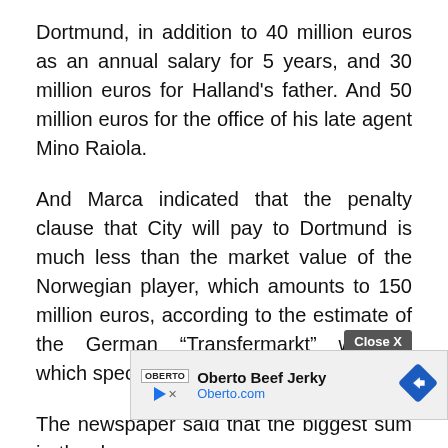Dortmund, in addition to 40 million euros as an annual salary for 5 years, and 30 million euros for Halland's father. And 50 million euros for the office of his late agent Mino Raiola.
And Marca indicated that the penalty clause that City will pay to Dortmund is much less than the market value of the Norwegian player, which amounts to 150 million euros, according to the estimate of the German “Transfermarkt” website, which specializes in the football economy.
The newspaper said that the biggest sum in the deal is the annual salary of the 21-year-old in... net -
[Figure (other): Advertisement overlay: Oberto Beef Jerky ad with logo, title, Oberto.com URL, navigation diamond icon, and a Close X button]